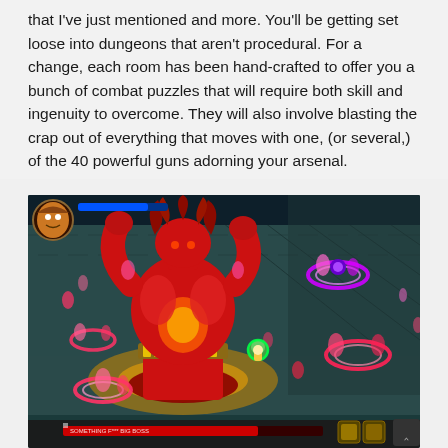that I've just mentioned and more. You'll be getting set loose into dungeons that aren't procedural. For a change, each room has been hand-crafted to offer you a bunch of combat puzzles that will require both skill and ingenuity to overcome. They will also involve blasting the crap out of everything that moves with one, (or several,) of the 40 powerful guns adorning your arsenal.
[Figure (screenshot): Screenshot from a top-down action game showing a large red muscular demon boss surrounded by pink and red fire rings. A small player character is visible in the center-right area. UI elements include a health bar, portrait icon, and inventory slots at the bottom.]